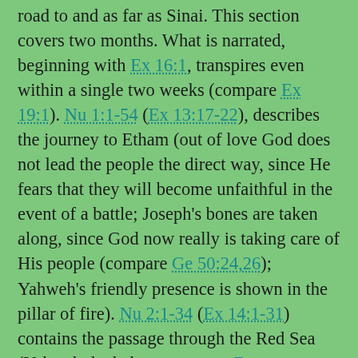road to and as far as Sinai. This section covers two months. What is narrated, beginning with Ex 16:1, transpires even within a single two weeks (compare Ex 19:1). Nu 1:1-54 (Ex 13:17-22), describes the journey to Etham (out of love God does not lead the people the direct way, since He fears that they will become unfaithful in the event of a battle; Joseph's bones are taken along, since God now really is taking care of His people (compare Ge 50:24,26); Yahweh's friendly presence is shown in the pillar of fire). Nu 2:1-34 (Ex 14:1-31) contains the passage through the Red Sea (Yahweh the helper; compare Ex 14:10,15,13-14,30,21,24,26 f,Ex 31:1-18, notwithstanding the murmuring of Israel, Ex 14:11 f). Nu 3:1-51 (Ex 15:1 ff) contains the thanksgiving hymn of Moses for Yahweh's help, with which fact each one of the four strophes begins (Ex 15:1 ff,6